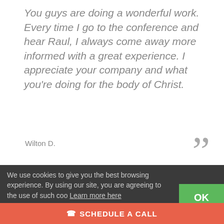You guys are doing a wonderful work. Every time I go to the conference and hear Raul, I always come away more informed with a great experience. I appreciate your company and what you're doing for the body of Christ.
Wilton D.
We use cookies to give you the best browsing experience. By using our site, you are agreeing to the use of such cookies. Learn more here
We have such high confidence in...
SCHEDULE A CALL